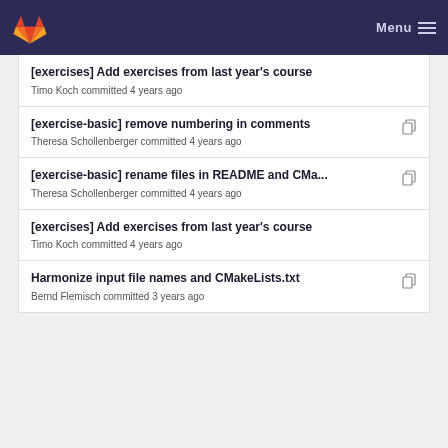GitLab Menu
[exercises] Add exercises from last year's course
Timo Koch committed 4 years ago
[exercise-basic] remove numbering in comments
Theresa Schollenberger committed 4 years ago
[exercise-basic] rename files in README and CMa...
Theresa Schollenberger committed 4 years ago
[exercises] Add exercises from last year's course
Timo Koch committed 4 years ago
Harmonize input file names and CMakeLists.txt
Bernd Flemisch committed 3 years ago